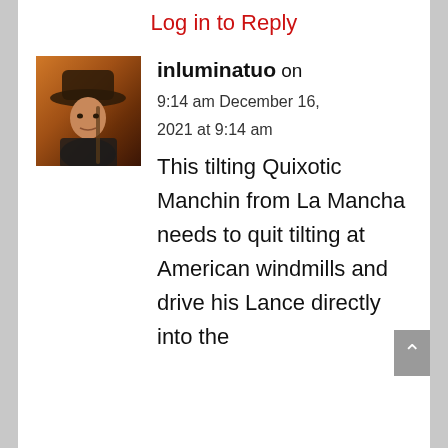Log in to Reply
[Figure (photo): Avatar image of a man in cowboy hat holding a rifle, warm orange/brown tones, western style]
inluminatuo on 9:14 am December 16, 2021 at 9:14 am
This tilting Quixotic Manchin from La Mancha needs to quit tilting at American windmills and drive his Lance directly into the